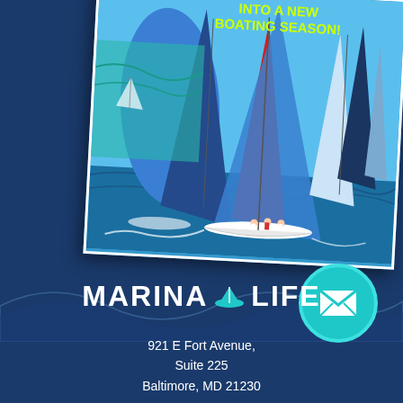[Figure (photo): Sailing magazine cover showing multiple sailboats racing on blue water with colorful spinnaker sails. Headline text reads 'INTO A NEW BOATING SEASON!' in yellow-green text. The magazine is displayed at a slight angle on a dark navy background.]
[Figure (illustration): Teal/cyan circular email icon button with white envelope symbol, positioned bottom right area.]
MARINA LIFE
921 E Fort Avenue,
Suite 225
Baltimore, MD 21230